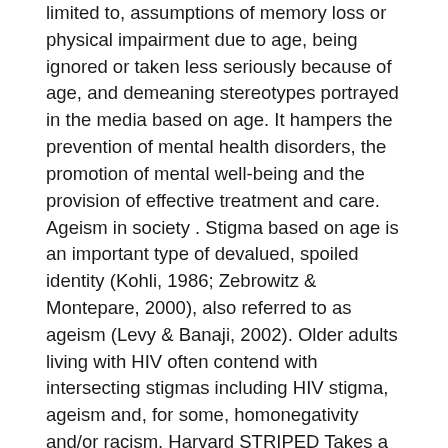limited to, assumptions of memory loss or physical impairment due to age, being ignored or taken less seriously because of age, and demeaning stereotypes portrayed in the media based on age. It hampers the prevention of mental health disorders, the promotion of mental well-being and the provision of effective treatment and care. Ageism in society . Stigma based on age is an important type of devalued, spoiled identity (Kohli, 1986; Zebrowitz & Montepare, 2000), also referred to as ageism (Levy & Banaji, 2002). Older adults living with HIV often contend with intersecting stigmas including HIV stigma, ageism and, for some, homonegativity and/or racism. Harvard STRIPED Takes a Stand on Addressing Weight Stigma, Racism, and Ageism in Public Health. Ageism, which is the common term for the stigma and discrimination related to aging, is everywhere. We don't see